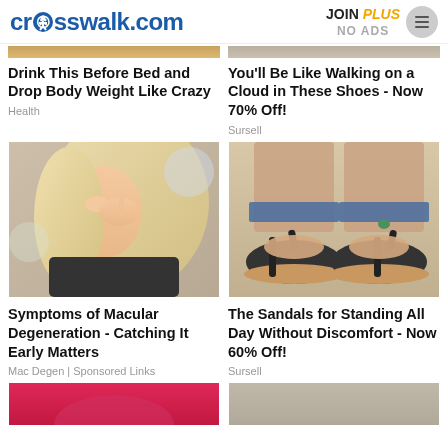crosswalk.com | JOIN PLUS NO ADS
Drink This Before Bed and Drop Body Weight Like Crazy
Health
You'll Be Like Walking on a Cloud in These Shoes - Now 70% Off!
Sursell
[Figure (photo): Woman with blonde hair touching her eye]
[Figure (photo): Black sandals on feet]
Symptoms of Macular Degeneration - Catching It Early Matters
Mac Degen | Sponsored Links
The Sandals for Standing All Day Without Discomfort - Now 60% Off!
Sursell